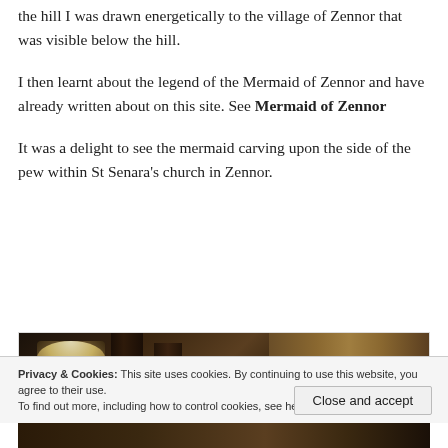the hill I was drawn energetically to the village of Zennor that was visible below the hill.
I then learnt about the legend of the Mermaid of Zennor and have already written about on this site. See Mermaid of Zennor
It was a delight to see the mermaid carving upon the side of the pew within St Senara’s church in Zennor.
[Figure (photo): Interior of St Senara's church in Zennor showing dark wooden pews and a stained glass window letting in bright light]
Privacy & Cookies: This site uses cookies. By continuing to use this website, you agree to their use.
To find out more, including how to control cookies, see here: Cookie Policy
[Figure (photo): Partial view of another photo at the bottom of the page showing church interior]